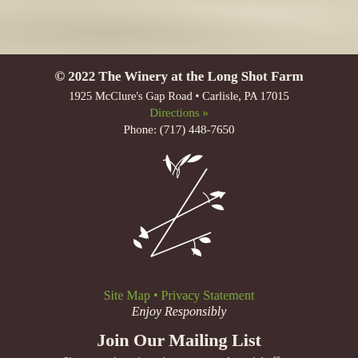[Figure (illustration): Beige/tan textured paper background band at top of page]
© 2022 The Winery at the Long Shot Farm
1925 McClure's Gap Road • Carlisle, PA 17015
Directions »
Phone: (717) 448-7650
[Figure (logo): White decorative vine and bow-and-arrow logo illustration on dark brown background]
Site Map • Privacy Statement
Enjoy Responsibly
Join Our Mailing List
Sign up and receive winery news and special offers.